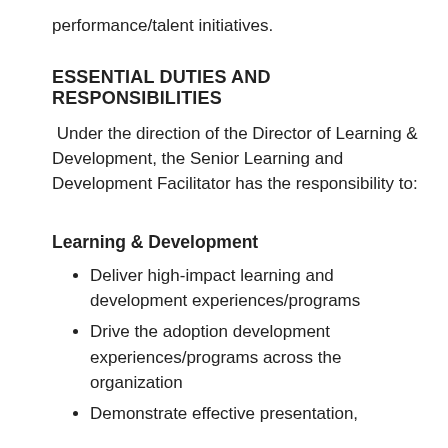performance/talent initiatives.
ESSENTIAL DUTIES AND RESPONSIBILITIES
Under the direction of the Director of Learning & Development, the Senior Learning and Development Facilitator has the responsibility to:
Learning & Development
Deliver high-impact learning and development experiences/programs
Drive the adoption development experiences/programs across the organization
Demonstrate effective presentation,